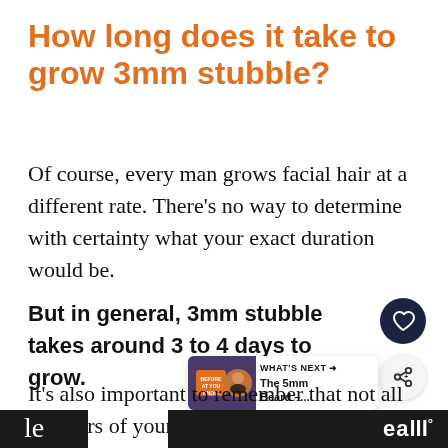How long does it take to grow 3mm stubble?
Of course, every man grows facial hair at a different rate. There’s no way to determine with certainty what your exact duration would be.
But in general, 3mm stubble takes around 3 to 4 days to grow.
It’s also important to remember that not all the hairs of your face grows at the same rate. This
[Figure (screenshot): Heart favorite button (dark navy circle with white heart icon) and share button (light circle with share icon), plus a 'WHAT'S NEXT' widget showing 'The 5mm Beard -...' with a thumbnail image]
le ... eal°